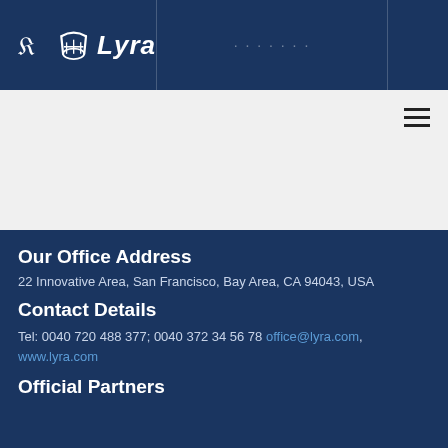Lyra
Our Office Address
22 Innovative Area, San Francisco, Bay Area, CA 94043, USA
Contact Details
Tel: 0040 720 488 377; 0040 372 34 56 78 office@lyra.com, www.lyra.com
Official Partners